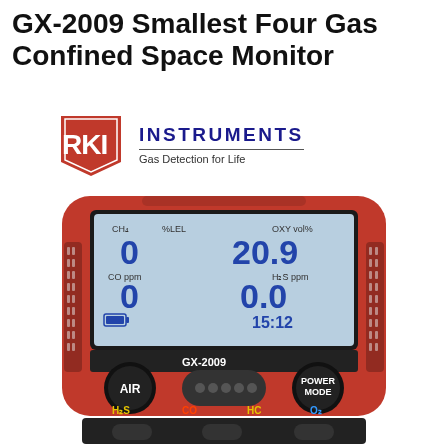GX-2009 Smallest Four Gas Confined Space Monitor
[Figure (logo): RKI Instruments logo with red shield shape containing RKI text, and INSTRUMENTS text with Gas Detection for Life tagline]
[Figure (photo): RKI GX-2009 four gas confined space monitor device photo showing red housing with LCD display showing CH4 %LEL, OXY vol%, CO ppm, H2S ppm readings (0, 20.9, 0, 0.0, 15:12), AIR and POWER MODE buttons, H2S CO HC O2 labels at bottom]